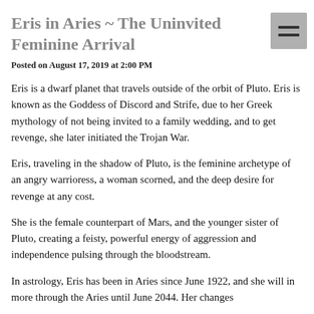Eris in Aries ~ The Uninvited Feminine Arrival
Posted on August 17, 2019 at 2:00 PM
Eris is a dwarf planet that travels outside of the orbit of Pluto. Eris is known as the Goddess of Discord and Strife, due to her Greek mythology of not being invited to a family wedding, and to get revenge, she later initiated the Trojan War.
Eris, traveling in the shadow of Pluto, is the feminine archetype of an angry warrioress, a woman scorned, and the deep desire for revenge at any cost.
She is the female counterpart of Mars, and the younger sister of Pluto, creating a feisty, powerful energy of aggression and independence pulsing through the bloodstream.
In astrology, Eris has been in Aries since June 1922, and she will in more through the Aries until June 2044. Her changes...